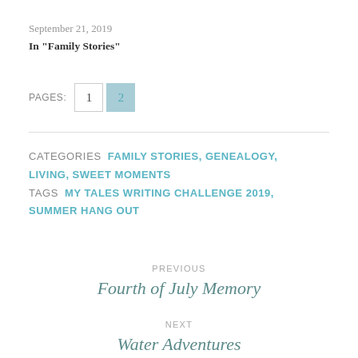September 21, 2019
In "Family Stories"
PAGES: 1 2
CATEGORIES  FAMILY STORIES,  GENEALOGY,  LIVING,  SWEET MOMENTS
TAGS  MY TALES WRITING CHALLENGE 2019,  SUMMER HANG OUT
PREVIOUS
Fourth of July Memory
NEXT
Water Adventures